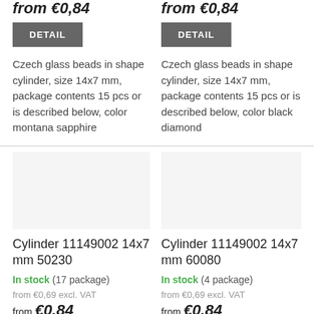from €0,84
DETAIL
Czech glass beads in shape cylinder, size 14x7 mm, package contents 15 pcs or is described below, color montana sapphire
from €0,84
DETAIL
Czech glass beads in shape cylinder, size 14x7 mm, package contents 15 pcs or is described below, color black diamond
Cylinder 11149002 14x7 mm 50230
In stock (17 package)
from €0,69 excl. VAT
from €0,84
Cylinder 11149002 14x7 mm 60080
In stock (4 package)
from €0,69 excl. VAT
from €0,84